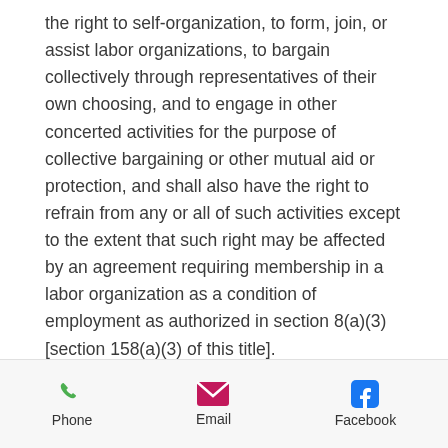the right to self-organization, to form, join, or assist labor organizations, to bargain collectively through representatives of their own choosing, and to engage in other concerted activities for the purpose of collective bargaining or other mutual aid or protection, and shall also have the right to refrain from any or all of such activities except to the extent that such right may be affected by an agreement requiring membership in a labor organization as a condition of employment as authorized in section 8(a)(3) [section 158(a)(3) of this title].
Employee Rights
Phone  Email  Facebook